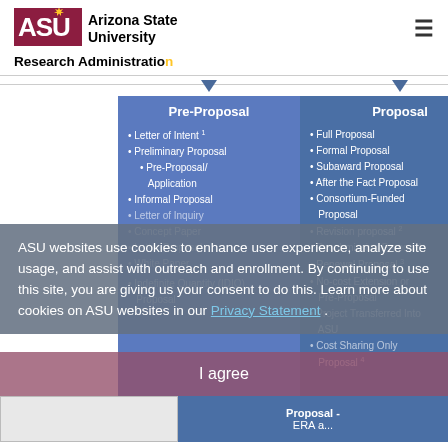[Figure (logo): Arizona State University logo with ASU text and university name]
Research Administration
[Figure (flowchart): ASU Research Administration proposal types flowchart showing Pre-Proposal and Proposal columns with various proposal types listed under each. Overlaid with cookie consent banner saying 'ASU websites use cookies to enhance user experience, analyze site usage, and assist with outreach and enrollment. By continuing to use this site, you are giving us your consent to do this. Learn more about cookies on ASU websites in our Privacy Statement.' with I agree button. Bottom shows partial Proposal-ERA heading.]
ASU websites use cookies to enhance user experience, analyze site usage, and assist with outreach and enrollment. By continuing to use this site, you are giving us your consent to do this. Learn more about cookies on ASU websites in our Privacy Statement .